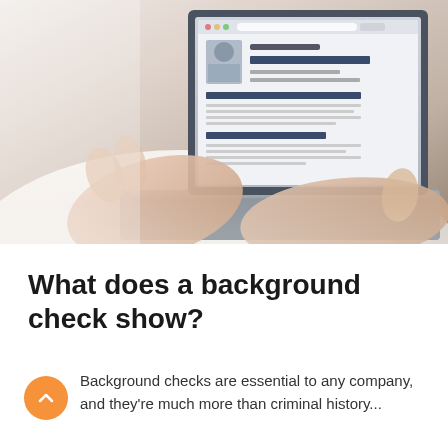[Figure (photo): Person in white shirt typing on a laptop. The laptop screen shows a profile/CV document with a photo, name, and blue bar sections. The photo is cropped showing hands on keyboard from above.]
What does a background check show?
Background checks are essential to any company, and they're much more than criminal history...